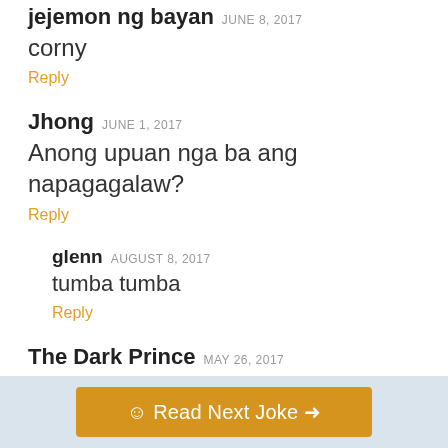jejemon ng bayan JUNE 8, 2017
corny
Reply
Jhong JUNE 1, 2017
Anong upuan nga ba ang napagagalaw?
Reply
glenn AUGUST 8, 2017
tumba tumba
Reply
The Dark Prince MAY 26, 2017
Q:Ano tawag sa pantalon Ng kabayo
☺ Read Next Joke →